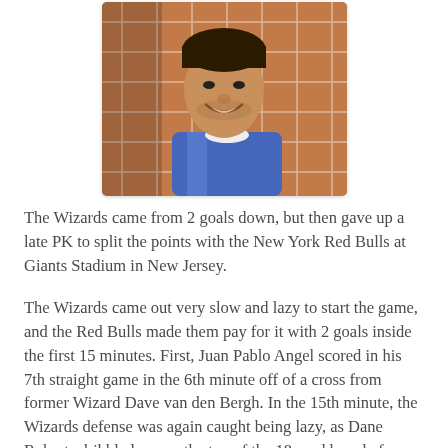[Figure (photo): Soccer player in blue and white jersey smiling in front of a goal net]
The Wizards came from 2 goals down, but then gave up a late PK to split the points with the New York Red Bulls at Giants Stadium in New Jersey.
The Wizards came out very slow and lazy to start the game, and the Red Bulls made them pay for it with 2 goals inside the first 15 minutes. First, Juan Pablo Angel scored in his 7th straight game in the 6th minute off of a cross from former Wizard Dave van den Bergh. In the 15th minute, the Wizards defense was again caught being lazy, as Dane Roberts dribbled across the top of the 18 yard box, before playing in Clint Mathis, who slid the ball underneath Kevin Hartman to make it 2-0.
After that, it looked like the Wizards finally woke up, they